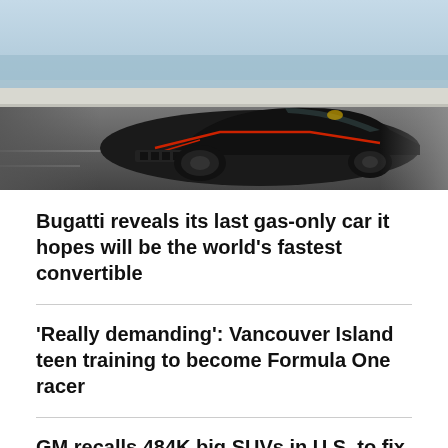[Figure (photo): A black Bugatti supercar driving on a road near water, photographed from a rear three-quarter angle. The car has distinctive red trim lines and a sleek low-profile body.]
Bugatti reveals its last gas-only car it hopes will be the world's fastest convertible
'Really demanding': Vancouver Island teen training to become Formula One racer
GM recalls 484K big SUVs in U.S. to fix problem third-row seat belts